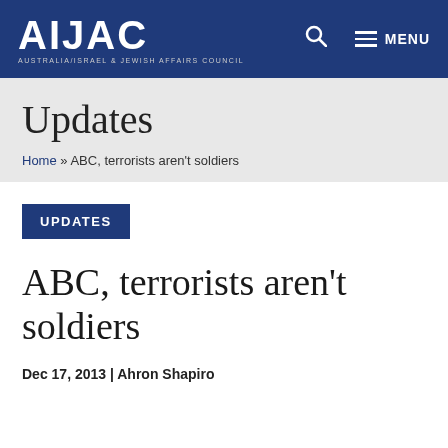AIJAC AUSTRALIA/ISRAEL & JEWISH AFFAIRS COUNCIL
Updates
Home » ABC, terrorists aren't soldiers
UPDATES
ABC, terrorists aren't soldiers
Dec 17, 2013 | Ahron Shapiro